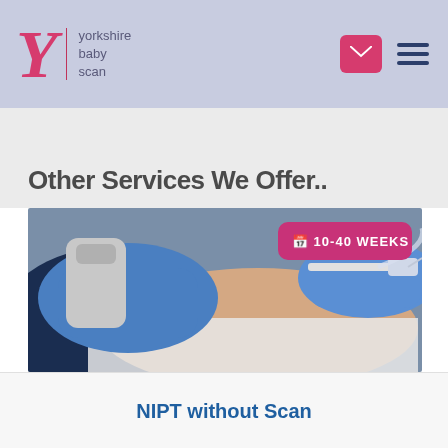yorkshire baby scan
Other Services We Offer..
[Figure (photo): Medical professional in blue gloves drawing blood from a patient's arm with a needle, medical blood draw procedure.]
NIPT without Scan